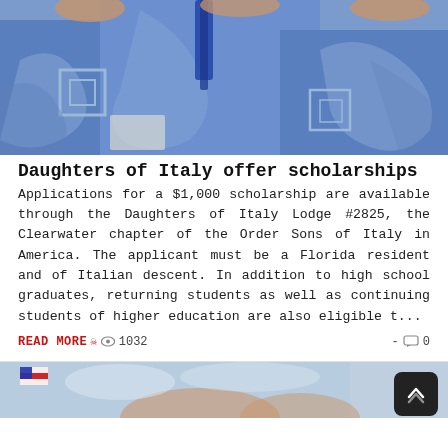[Figure (photo): Close-up photo of graduates in blue graduation gowns and caps viewed from behind/above]
Daughters of Italy offer scholarships
Applications for a $1,000 scholarship are available through the Daughters of Italy Lodge #2825, the Clearwater chapter of the Order Sons of Italy in America. The applicant must be a Florida resident and of Italian descent. In addition to high school graduates, returning students as well as continuing students of higher education are also eligible t...
READ MORE 1032 - 0
[Figure (photo): Partial photo at bottom of page showing graduates tossing caps with an American flag visible]